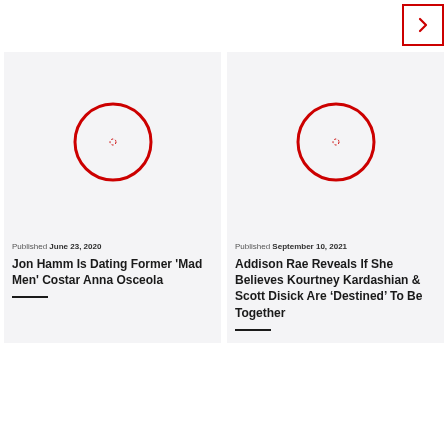[Figure (other): Navigation arrow button pointing right with red border]
[Figure (photo): Article thumbnail placeholder image with red circle outline and center dot — article: Jon Hamm Is Dating Former Mad Men Costar Anna Osceola]
Published June 23, 2020
Jon Hamm Is Dating Former 'Mad Men' Costar Anna Osceola
[Figure (photo): Article thumbnail placeholder image with red circle outline and center dot — article: Addison Rae Reveals If She Believes Kourtney Kardashian & Scott Disick Are Destined To Be Together]
Published September 10, 2021
Addison Rae Reveals If She Believes Kourtney Kardashian & Scott Disick Are 'Destined' To Be Together